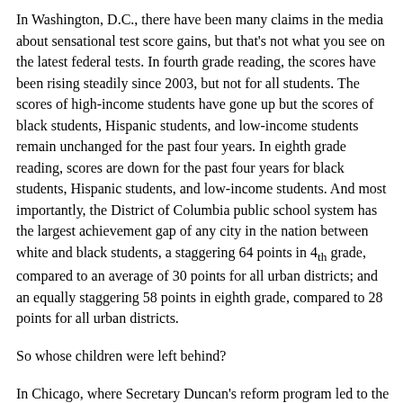In Washington, D.C., there have been many claims in the media about sensational test score gains, but that's not what you see on the latest federal tests. In fourth grade reading, the scores have been rising steadily since 2003, but not for all students. The scores of high-income students have gone up but the scores of black students, Hispanic students, and low-income students remain unchanged for the past four years. In eighth grade reading, scores are down for the past four years for black students, Hispanic students, and low-income students. And most importantly, the District of Columbia public school system has the largest achievement gap of any city in the nation between white and black students, a staggering 64 points in 4th grade, compared to an average of 30 points for all urban districts; and an equally staggering 58 points in eighth grade, compared to 28 points for all urban districts.
So whose children were left behind?
In Chicago, where Secretary Duncan's reform program led to the closing of 100 neighborhood schools, only 18% of the new schools were judged successful by the state of Illinois. On the NAEP for cities, Chicago continues to be one of the lowest performing in the nation. Since 2003, black and Hispanic students have seen no...